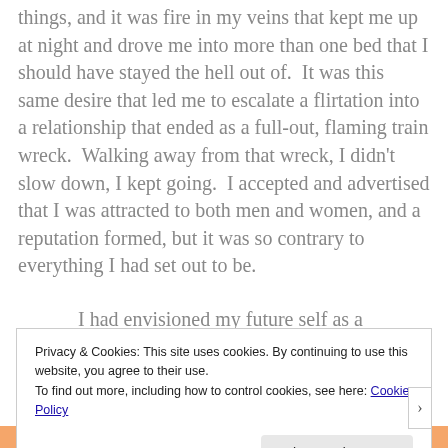things, and it was fire in my veins that kept me up at night and drove me into more than one bed that I should have stayed the hell out of. It was this same desire that led me to escalate a flirtation into a relationship that ended as a full-out, flaming train wreck. Walking away from that wreck, I didn't slow down, I kept going. I accepted and advertised that I was attracted to both men and women, and a reputation formed, but it was so contrary to everything I had set out to be.
I had envisioned my future self as a talented
Privacy & Cookies: This site uses cookies. By continuing to use this website, you agree to their use.
To find out more, including how to control cookies, see here: Cookie Policy